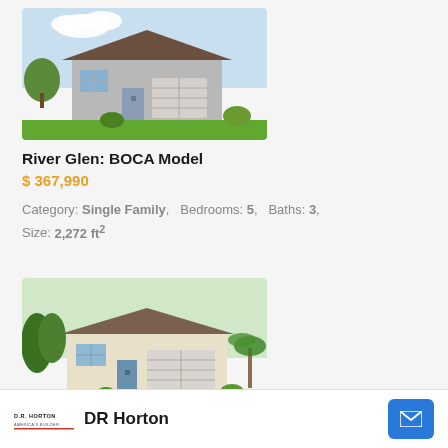[Figure (photo): Exterior rendering of River Glen BOCA Model home - single story house with garage]
River Glen: BOCA Model
$ 367,990
Category: Single Family,   Bedrooms: 5,   Baths: 3,  Size: 2,272 ft²
[Figure (photo): Exterior rendering of River Glen OSPREY Model home - single story house with two-car garage]
River Glen: OSPREY Model
$ 339,990
Category: Single Family,   Bedrooms: 4,   Baths: 2,  Size: 1,913 ft²
DR Horton